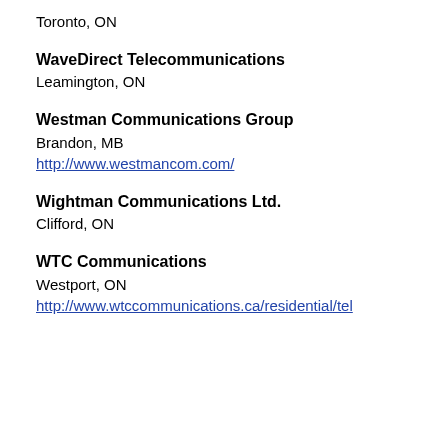Toronto, ON
WaveDirect Telecommunications
Leamington, ON
Westman Communications Group
Brandon, MB
http://www.westmancom.com/
Wightman Communications Ltd.
Clifford, ON
WTC Communications
Westport, ON
http://www.wtccommunications.ca/residential/tel